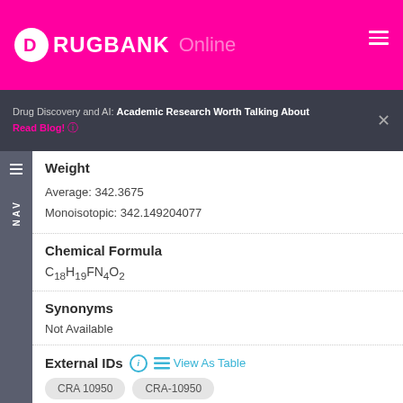DrugBank Online
Drug Discovery and AI: Academic Research Worth Talking About Read Blog!
Weight
Average: 342.3675
Monoisotopic: 342.149204077
Chemical Formula
Synonyms
Not Available
External IDs
CRA 10950   CRA-10950